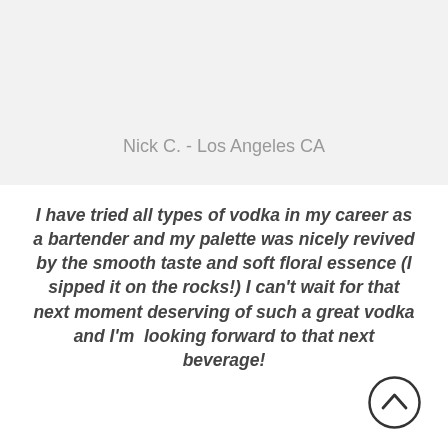Nick C. - Los Angeles CA
I have tried all types of vodka in my career as a bartender and my palette was nicely revived by the smooth taste and soft floral essence (I sipped it on the rocks!) I can't wait for that next moment deserving of such a great vodka and I'm looking forward to that next beverage!